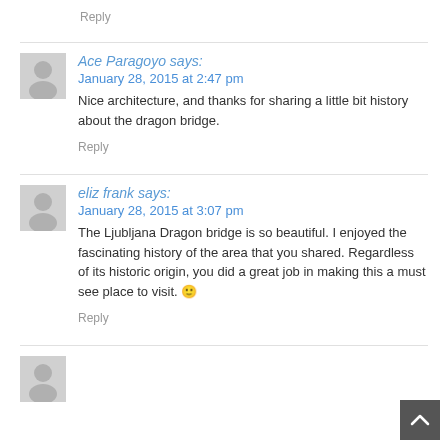Reply
Ace Paragoyo says:
January 28, 2015 at 2:47 pm
Nice architecture, and thanks for sharing a little bit history about the dragon bridge.
Reply
eliz frank says:
January 28, 2015 at 3:07 pm
The Ljubljana Dragon bridge is so beautiful. I enjoyed the fascinating history of the area that you shared. Regardless of its historic origin, you did a great job in making this a must see place to visit. 🙂
Reply